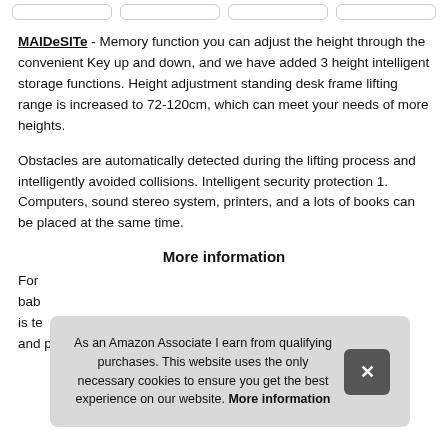MAIDeSITe - Memory function you can adjust the height through the convenient Key up and down, and we have added 3 height intelligent storage functions. Height adjustment standing desk frame lifting range is increased to 72-120cm, which can meet your needs of more heights.
Obstacles are automatically detected during the lifting process and intelligently avoided collisions. Intelligent security protection 1. Computers, sound stereo system, printers, and a lots of books can be placed at the same time.
More information
For bab is te and passed tuv and ce safety certification, the weight can
As an Amazon Associate I earn from qualifying purchases. This website uses the only necessary cookies to ensure you get the best experience on our website. More information